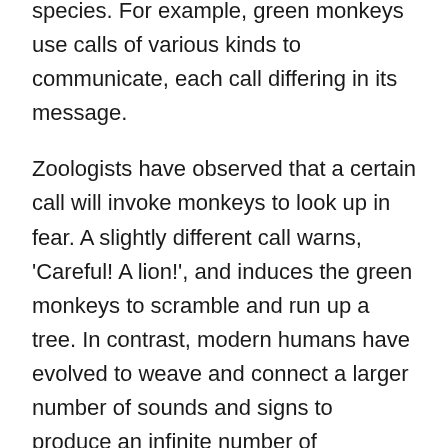species. For example, green monkeys use calls of various kinds to communicate, each call differing in its message.
Zoologists have observed that a certain call will invoke monkeys to look up in fear. A slightly different call warns, 'Careful! A lion!', and induces the green monkeys to scramble and run up a tree. In contrast, modern humans have evolved to weave and connect a larger number of sounds and signs to produce an infinite number of sentences, allowing us to store, relate, and ingest a superior amount of information regarding our surroundings.
A monkey can relate to other monkeys the simple fact that there is a lion nearby, but humans are capable of